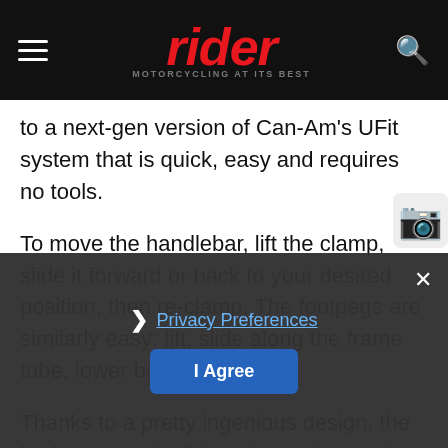rider — MOTORCYCLING AT ITS BEST
to a next-gen version of Can-Am's UFit system that is quick, easy and requires no tools.
To move the handlebar, lift the clamp, slide it forward or back to your desired position, then re-clamp. The footpegs are similarly easy: lift, slide along the frame tube, lower back into place.
Thanks to a pretty ingenious design, the brake reservoir slides along with the right peg, and the lever itself is also easily adjustable with one hand; at one red light I reached down and adjusted I footpegs before the l [I Agree button] ed green.